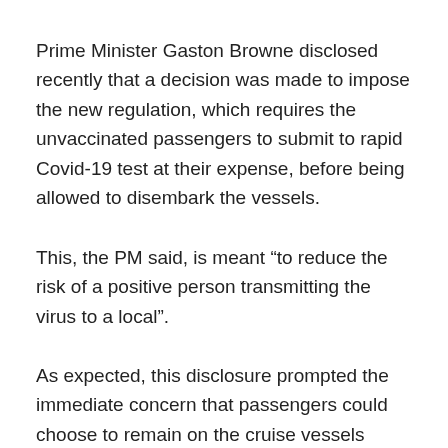Prime Minister Gaston Browne disclosed recently that a decision was made to impose the new regulation, which requires the unvaccinated passengers to submit to rapid Covid-19 test at their expense, before being allowed to disembark the vessels.
This, the PM said, is meant “to reduce the risk of a positive person transmitting the virus to a local”.
As expected, this disclosure prompted the immediate concern that passengers could choose to remain on the cruise vessels rather than pay for the test, meaning the money they would potentially spend with a local business would remain in their pockets and not be injected into the economy.
Tourism Minister, Charles Fernandez, responded to those